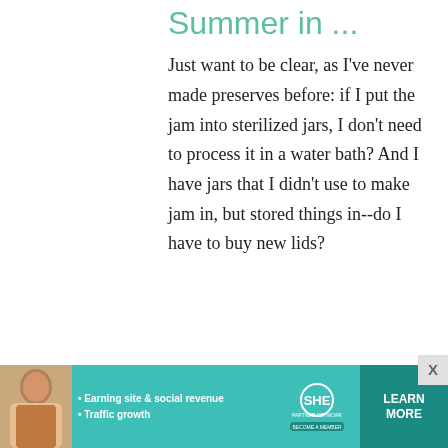Summer in ...
Just want to be clear, as I've never made preserves before: if I put the jam into sterilized jars, I don't need to process it in a water bath? And I have jars that I didn't use to make jam in, but stored things in--do I have to buy new lids?
[Figure (infographic): Advertisement banner for SHE Media Partner Network showing a woman, bullet points about earning site & social revenue and traffic growth, the SHE logo, and a LEARN MORE button.]